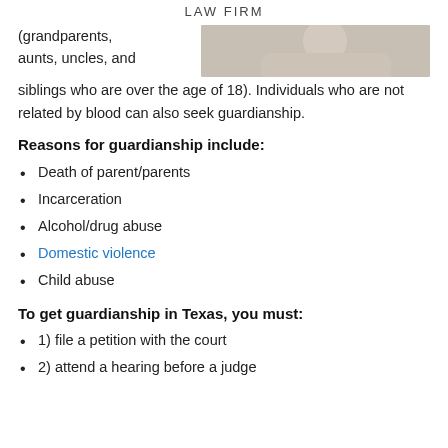LAW FIRM
(grandparents, aunts, uncles, and siblings who are over the age of 18). Individuals who are not related by blood can also seek guardianship.
[Figure (photo): Partial photo of an elderly person, cropped at the top right of the page.]
Reasons for guardianship include:
Death of parent/parents
Incarceration
Alcohol/drug abuse
Domestic violence
Child abuse
To get guardianship in Texas, you must:
1) file a petition with the court
2) attend a hearing before a judge